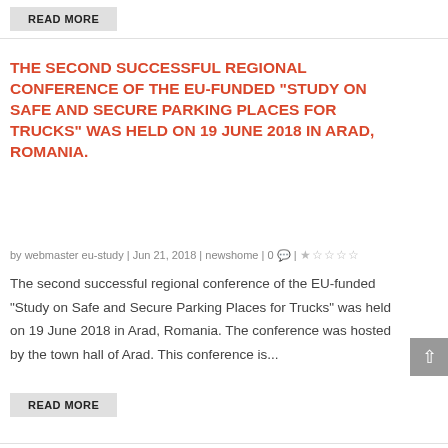READ MORE
THE SECOND SUCCESSFUL REGIONAL CONFERENCE OF THE EU-FUNDED “STUDY ON SAFE AND SECURE PARKING PLACES FOR TRUCKS” WAS HELD ON 19 JUNE 2018 IN ARAD, ROMANIA.
by webmaster eu-study | Jun 21, 2018 | newshome | 0 💬 | ★☆☆☆☆
The second successful regional conference of the EU-funded “Study on Safe and Secure Parking Places for Trucks” was held on 19 June 2018 in Arad, Romania. The conference was hosted by the town hall of Arad. This conference is...
READ MORE